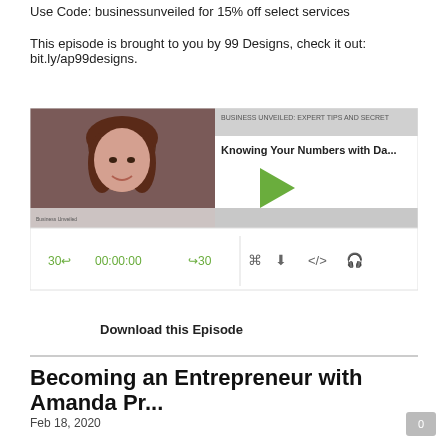Use Code: businessunveiled for 15% off select services
This episode is brought to you by 99 Designs, check it out: bit.ly/ap99designs.
[Figure (screenshot): Podcast player widget showing a woman's photo, play button, episode title 'Knowing Your Numbers with Da...' under 'BUSINESS UNVEILED: EXPERT TIPS AND SECRET', and audio controls showing 30 back, 00:00:00, 30 forward, and icons.]
Download this Episode
Becoming an Entrepreneur with Amanda Pr...
Feb 18, 2020
Looking to make the change to entrepreneurship? Or maybe you already have? There can be a feeling of uncertainty, families may not quite understand. We've all been there! But success comes when you keep a positive mindset and power through!
In this episode, I chat with Amanda Price, Owner and Lead Planner and Designer of Amanda Price Events about the transition from corporate to entrepreneurship, how to communicate the change to those around you and her experience planning a wedding that received national attention.